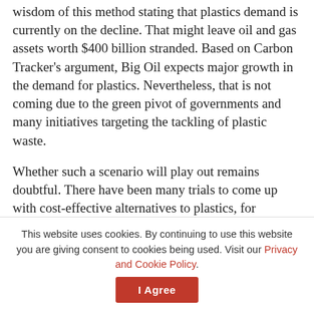wisdom of this method stating that plastics demand is currently on the decline. That might leave oil and gas assets worth $400 billion stranded. Based on Carbon Tracker's argument, Big Oil expects major growth in the demand for plastics. Nevertheless, that is not coming due to the green pivot of governments and many initiatives targeting the tackling of plastic waste.
Whether such a scenario will play out remains doubtful. There have been many trials to come up with cost-effective alternatives to plastics, for instance. Some have proven successful while
This website uses cookies. By continuing to use this website you are giving consent to cookies being used. Visit our Privacy and Cookie Policy.